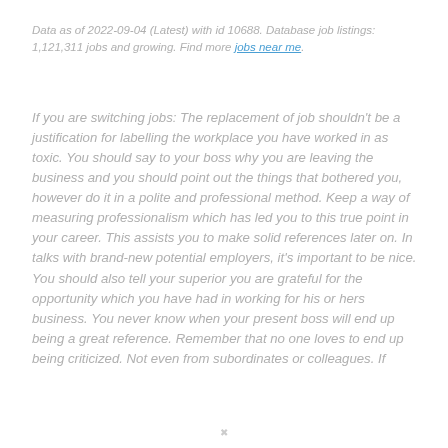Data as of 2022-09-04 (Latest) with id 10688. Database job listings: 1,121,311 jobs and growing. Find more jobs near me.
If you are switching jobs: The replacement of job shouldn't be a justification for labelling the workplace you have worked in as toxic. You should say to your boss why you are leaving the business and you should point out the things that bothered you, however do it in a polite and professional method. Keep a way of measuring professionalism which has led you to this true point in your career. This assists you to make solid references later on. In talks with brand-new potential employers, it's important to be nice. You should also tell your superior you are grateful for the opportunity which you have had in working for his or hers business. You never know when your present boss will end up being a great reference. Remember that no one loves to end up being criticized. Not even from subordinates or colleagues. If